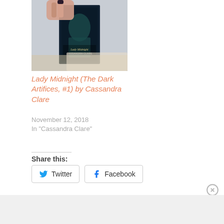[Figure (photo): A hand holding the book 'Lady Midnight' by Cassandra Clare (The Dark Artifices series) against a light background]
Lady Midnight (The Dark Artifices, #1) by Cassandra Clare
November 12, 2018
In "Cassandra Clare"
Share this:
Twitter
Facebook
Advertisements
[Figure (screenshot): Ulta Beauty advertisement banner showing makeup products and models]